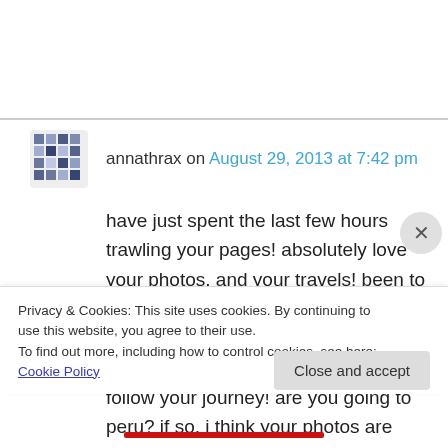annathrax on August 29, 2013 at 7:42 pm
have just spent the last few hours trawling your pages! absolutely love your photos, and your travels! been to a few of the places you have been, dreaming of visiting some more too. thanks for sharing, have decided to follow your journey! are you going to peru? if so, i think your photos are going to be AWESOME from there.
Privacy & Cookies: This site uses cookies. By continuing to use this website, you agree to their use.
To find out more, including how to control cookies, see here: Cookie Policy